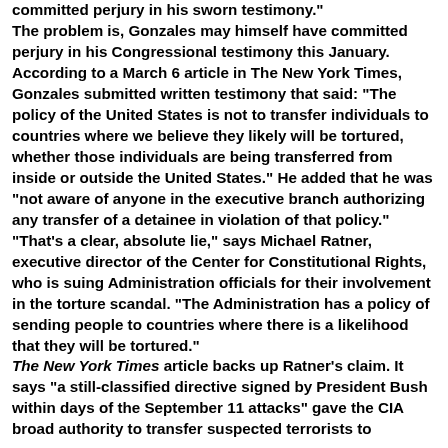committed perjury in his sworn testimony." The problem is, Gonzales may himself have committed perjury in his Congressional testimony this January. According to a March 6 article in The New York Times, Gonzales submitted written testimony that said: "The policy of the United States is not to transfer individuals to countries where we believe they likely will be tortured, whether those individuals are being transferred from inside or outside the United States." He added that he was "not aware of anyone in the executive branch authorizing any transfer of a detainee in violation of that policy." "That's a clear, absolute lie," says Michael Ratner, executive director of the Center for Constitutional Rights, who is suing Administration officials for their involvement in the torture scandal. "The Administration has a policy of sending people to countries where there is a likelihood that they will be tortured." The New York Times article backs up Ratner's claim. It says "a still-classified directive signed by President Bush within days of the September 11 attacks" gave the CIA broad authority to transfer suspected terrorists to